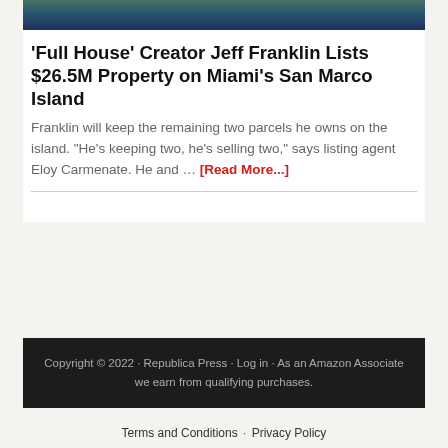[Figure (photo): Aerial photo of a waterfront property on an island, showing water and green vegetation]
'Full House' Creator Jeff Franklin Lists $26.5M Property on Miami's San Marco Island
Franklin will keep the remaining two parcels he owns on the island. "He's keeping two, he's selling two," says listing agent Eloy Carmenate. He and … [Read More...]
Copyright © 2022 · Republica Press · Log in · As an Amazon Associate we earn from qualifying purchases.
Terms and Conditions · Privacy Policy